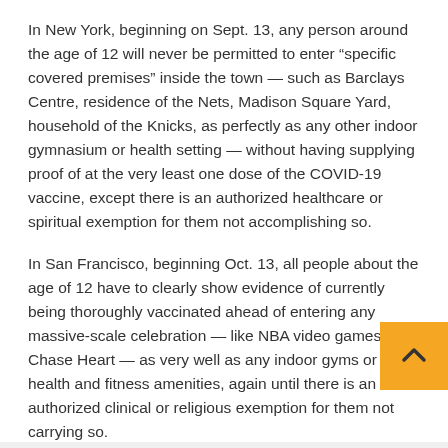In New York, beginning on Sept. 13, any person around the age of 12 will never be permitted to enter “specific covered premises” inside the town — such as Barclays Centre, residence of the Nets, Madison Square Yard, household of the Knicks, as perfectly as any other indoor gymnasium or health setting — without having supplying proof of at the very least one dose of the COVID-19 vaccine, except there is an authorized healthcare or spiritual exemption for them not accomplishing so.
In San Francisco, beginning Oct. 13, all people about the age of 12 have to clearly show evidence of currently being thoroughly vaccinated ahead of entering any massive-scale celebration — like NBA video games at Chase Heart — as very well as any indoor gyms or other health and fitness amenities, again until there is an authorized clinical or religious exemption for them not carrying so.
These legal guidelines apply only to players on the Knicks,